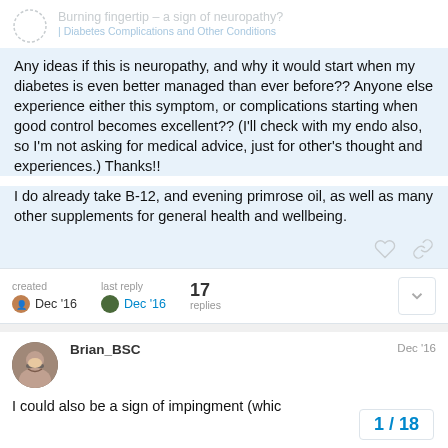Burning fingertip - a sign of neuropathy? | Diabetes Complications and Other Conditions
Any ideas if this is neuropathy, and why it would start when my diabetes is even better managed than ever before?? Anyone else experience either this symptom, or complications starting when good control becomes excellent?? (I'll check with my endo also, so I'm not asking for medical advice, just for other's thought and experiences.) Thanks!!
I do already take B-12, and evening primrose oil, as well as many other supplements for general health and wellbeing.
created Dec '16   last reply Dec '16   17 replies
Brian_BSC   Dec '16
I could also be a sign of impingment (whic
1 / 18